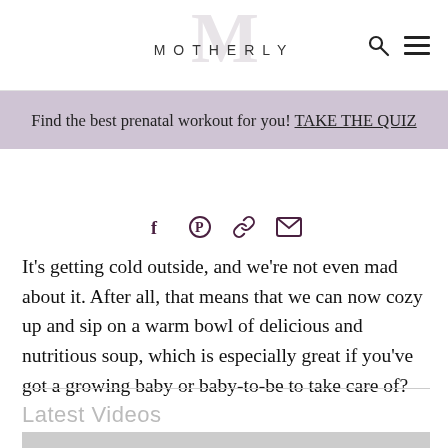MOTHERLY
Find the best prenatal workout for you! TAKE THE QUIZ
It’s getting cold outside, and we’re not even mad about it. After all, that means that we can now cozy up and sip on a warm bowl of delicious and nutritious soup, which is especially great if you’ve got a growing baby or baby-to-be to take care of?
Latest Videos